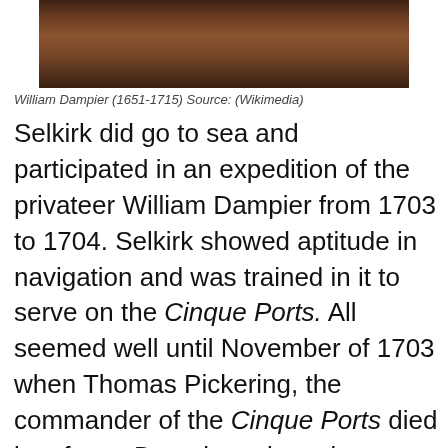[Figure (photo): Partial portrait photo of William Dampier, showing the lower portion of the face and torso against a dark background]
William Dampier (1651-1715) Source: (Wikimedia)
Selkirk did go to sea and participated in an expedition of the privateer William Dampier from 1703 to 1704. Selkirk showed aptitude in navigation and was trained in it to serve on the Cinque Ports. All seemed well until November of 1703 when Thomas Pickering, the commander of the Cinque Ports died in a fever. Dampier selected Pickering’s lieutenant, the disagreeable Thomas Stradling, to take command.